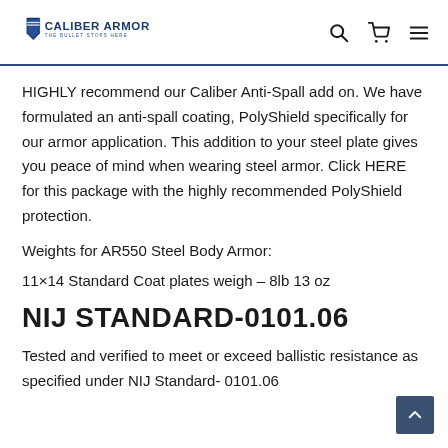CALIBER ARMOR — THE BULLET STOPS HERE
HIGHLY recommend our Caliber Anti-Spall add on. We have formulated an anti-spall coating, PolyShield specifically for our armor application. This addition to your steel plate gives you peace of mind when wearing steel armor. Click HERE for this package with the highly recommended PolyShield protection.
Weights for AR550 Steel Body Armor:
11×14 Standard Coat plates weigh – 8lb 13 oz
NIJ STANDARD-0101.06
Tested and verified to meet or exceed ballistic resistance as specified under NIJ Standard- 0101.06